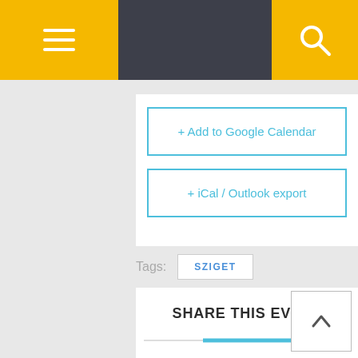[Figure (screenshot): Navigation bar with hamburger menu button on yellow background (left), dark gray bar (center), and search icon on yellow background (right)]
+ Add to Google Calendar
+ iCal / Outlook export
Tags:
SZIGET
SHARE THIS EVENT
[Figure (illustration): Decorative horizontal divider with a cyan/blue accent bar and pink dot in the center]